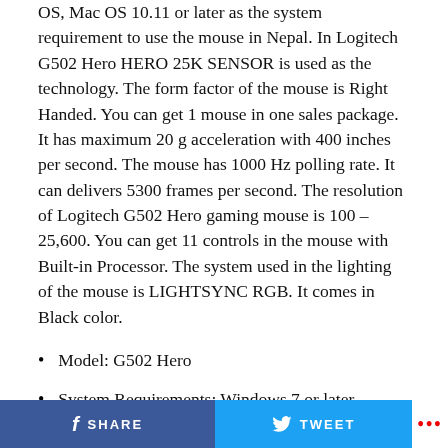OS, Mac OS 10.11 or later as the system requirement to use the mouse in Nepal. In Logitech G502 Hero HERO 25K SENSOR is used as the technology. The form factor of the mouse is Right Handed. You can get 1 mouse in one sales package. It has maximum 20 g acceleration with 400 inches per second. The mouse has 1000 Hz polling rate. It can delivers 5300 frames per second. The resolution of Logitech G502 Hero gaming mouse is 100 – 25,600. You can get 11 controls in the mouse with Built-in Processor. The system used in the lighting of the mouse is LIGHTSYNC RGB. It comes in Black color.
Model: G502 Hero
System Requirements: Windows 7 or later, Chrome OS, Mac OS 10.11 or later
Used Technology: HERO 25K SENSOR
SHARE   TWEET   ...